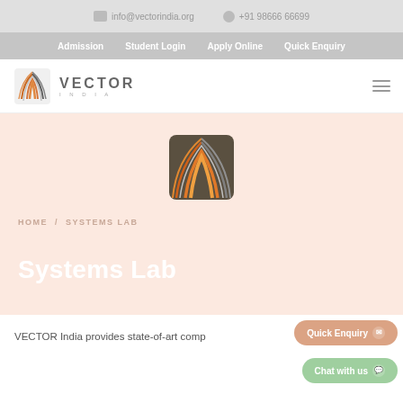info@vectorindia.org   +91 98666 66699
Admission   Student Login   Apply Online   Quick Enquiry
[Figure (logo): Vector India logo with stylized wheat/leaf graphic and text VECTOR INDIA]
Systems Lab
HOME / SYSTEMS LAB
VECTOR India provides state-of-art comp...